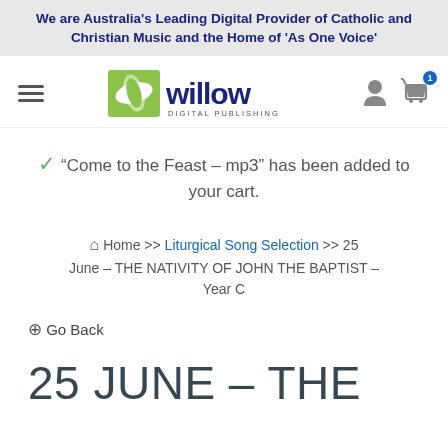We are Australia's Leading Digital Provider of Catholic and Christian Music and the Home of 'As One Voice'
[Figure (logo): Willow Digital Publishing logo with green leaf/oval icon and blue stylized 'willow' wordmark]
“Come to the Feast – mp3” has been added to your cart.
Home >> Liturgical Song Selection >> 25 June – THE NATIVITY OF JOHN THE BAPTIST – Year C
Go Back
25 JUNE – THE